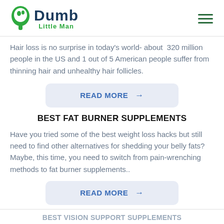Dumb Little Man
Hair loss is no surprise in today's world- about 320 million people in the US and 1 out of 5 American people suffer from thinning hair and unhealthy hair follicles.
READ MORE →
BEST FAT BURNER SUPPLEMENTS
Have you tried some of the best weight loss hacks but still need to find other alternatives for shedding your belly fats? Maybe, this time, you need to switch from pain-wrenching methods to fat burner supplements..
READ MORE →
BEST VISION SUPPORT SUPPLEMENTS